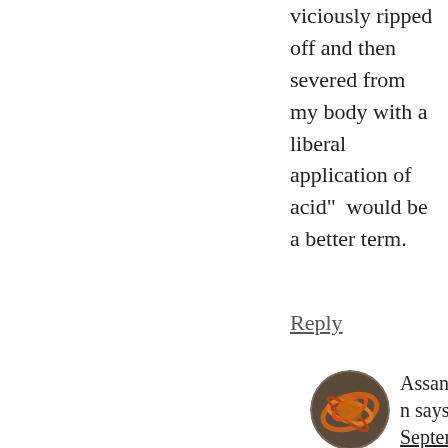viciously ripped off and then severed from my body with a liberal application of acid”  would be a better term.
Reply
Assanjin says September 10, 2014 at 12:46 am